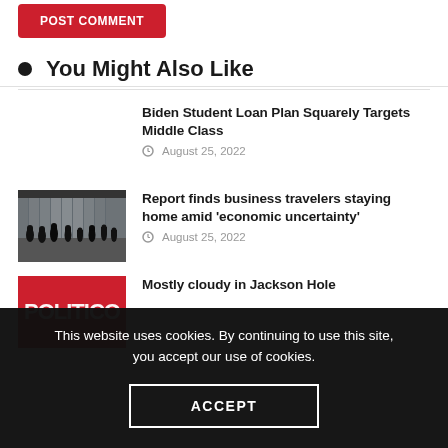[Figure (other): Red POST COMMENT button at top]
You Might Also Like
Biden Student Loan Plan Squarely Targets Middle Class
August 25, 2022
[Figure (photo): Black and white photo of business travelers silhouetted in an airport terminal]
Report finds business travelers staying home amid 'economic uncertainty'
August 25, 2022
[Figure (logo): Politico red logo image]
Mostly cloudy in Jackson Hole
This website uses cookies. By continuing to use this site, you accept our use of cookies.
ACCEPT